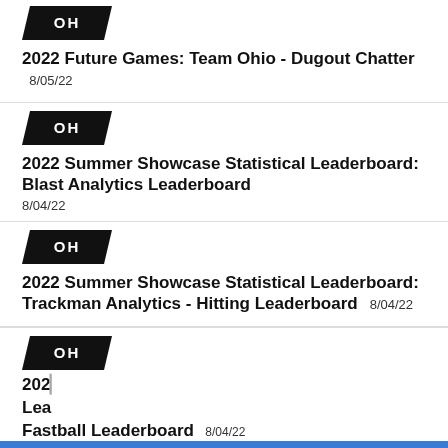[Figure (logo): Black parallelogram badge with white text 'OH']
2022 Future Games: Team Ohio - Dugout Chatter  8/05/22
[Figure (logo): Black parallelogram badge with white text 'OH']
2022 Summer Showcase Statistical Leaderboard: Blast Analytics Leaderboard  8/04/22
[Figure (logo): Black parallelogram badge with white text 'OH']
2022 Summer Showcase Statistical Leaderboard: Trackman Analytics - Hitting Leaderboard  8/04/22
[Figure (logo): Black parallelogram badge with white text 'OH']
2022 Summer Showcase Statistical Leaderboard: Fastball Leaderboard  8/04/22
[Figure (other): Advertisement banner: 'You don't have to be perfect to be a perfect parent. Learn More About Adoption. Adopt US Kids']